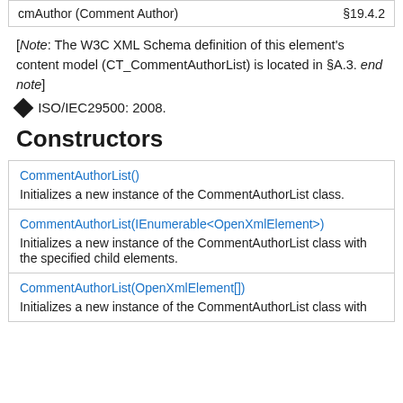|  |  |
| --- | --- |
| cmAuthor (Comment Author) | §19.4.2 |
[Note: The W3C XML Schema definition of this element's content model (CT_CommentAuthorList) is located in §A.3. end note]
◆ ISO/IEC29500: 2008.
Constructors
| Constructor | Description |
| --- | --- |
| CommentAuthorList() | Initializes a new instance of the CommentAuthorList class. |
| CommentAuthorList(IEnumerable<OpenXmlElement>) | Initializes a new instance of the CommentAuthorList class with the specified child elements. |
| CommentAuthorList(OpenXmlElement[]) | Initializes a new instance of the CommentAuthorList class with |